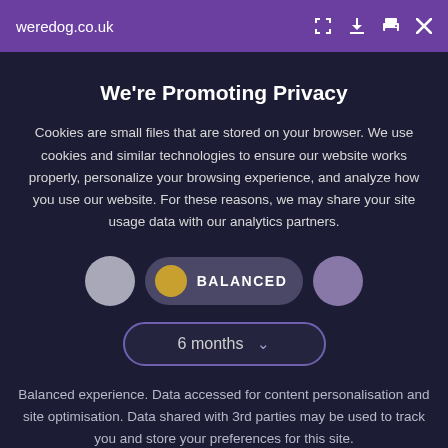weredog.co.uk
We're Promoting Privacy
Cookies are small files that are stored on your browser. We use cookies and similar technologies to ensure our website works properly, personalize your browsing experience, and analyze how you use our website. For these reasons, we may share your site usage data with our analytics partners.
[Figure (other): Cookie consent toggle row with three options: grey circle (left), gold circle with BALANCED label in dark pill (center, selected), and purple circle (right)]
[Figure (other): Dropdown selector showing '6 months' with chevron arrow, styled with purple border and dark background pill shape]
Balanced experience. Data accessed for content personalisation and site optimisation. Data shared with 3rd parties may be used to track you and store your preferences for this site.